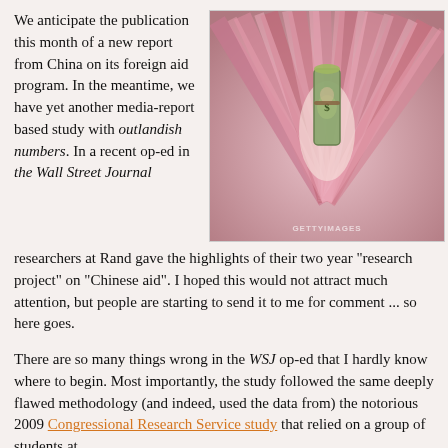We anticipate the publication this month of a new report from China on its foreign aid program. In the meantime, we have yet another media-report based study with outlandish numbers. In a recent op-ed in the Wall Street Journal researchers at Rand gave the highlights of their two year "research project" on "Chinese aid". I hoped this would not attract much attention, but people are starting to send it to me for comment ... so here goes.
[Figure (photo): Photo of a rolled-up US dollar bill standing upright in the center of a fan of Chinese yuan banknotes, with a GettyImages/VisualChina watermark]
There are so many things wrong in the WSJ op-ed that I hardly know where to begin. Most importantly, the study followed the same deeply flawed methodology (and indeed, used the data from) the notorious 2009 Congressional Research Service study that relied on a group of students at